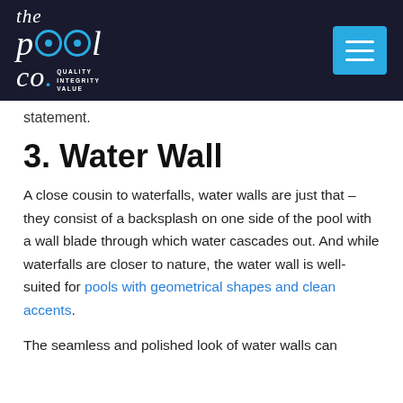the pool co. QUALITY INTEGRITY VALUE [logo + navigation menu]
statement.
3. Water Wall
A close cousin to waterfalls, water walls are just that – they consist of a backsplash on one side of the pool with a wall blade through which water cascades out. And while waterfalls are closer to nature, the water wall is well-suited for pools with geometrical shapes and clean accents.
The seamless and polished look of water walls can